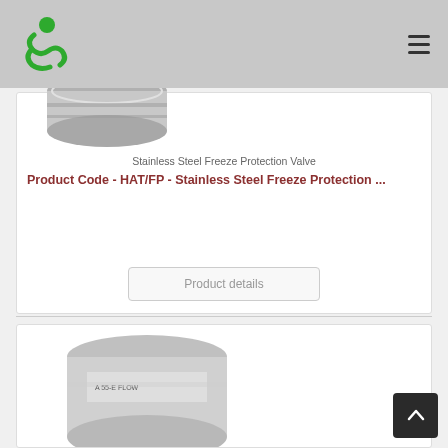[Figure (logo): Spilltek logo with green S figure and SPILLTEK text]
[Figure (photo): Stainless steel freeze protection valve - cylindrical metal product]
Stainless Steel Freeze Protection Valve
Product Code - HAT/FP - Stainless Steel Freeze Protection ...
[Figure (screenshot): Product details button]
[Figure (photo): Second stainless steel product - cylindrical valve partially visible]